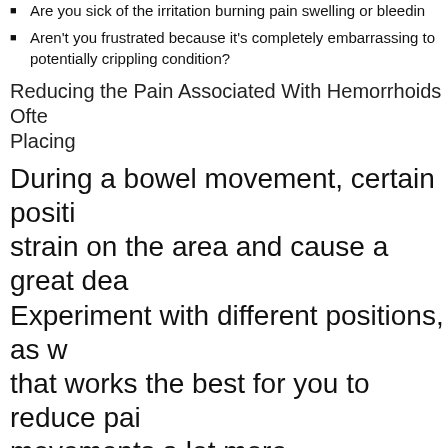Are you sick of the irritation burning pain swelling or bleeding
Aren't you frustrated because it's completely embarrassing to potentially crippling condition?
Reducing the Pain Associated With Hemorrhoids Ofte Placing
During a bowel movement, certain positi strain on the area and cause a great dea Experiment with different positions, as w that works the best for you to reduce pai movements a lot more comfortable.
Hemorrhoids have got their most common symptoms; these a color transformation which appears on the affected area.
The latest advancements in medicine for hemorrhoids treatme been developed to help anyone that is ailing from the disease
Internal hemorrhoids tend to be better treated by herbal treat have many advantages.